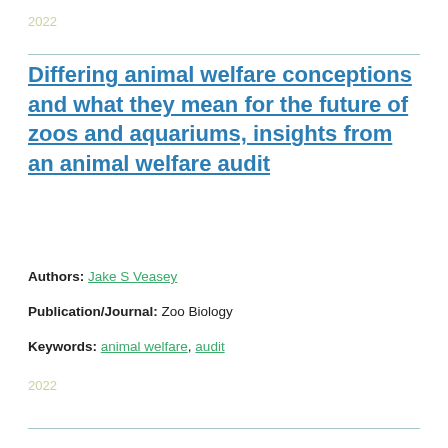2022
Differing animal welfare conceptions and what they mean for the future of zoos and aquariums, insights from an animal welfare audit
Authors: Jake S Veasey
Publication/Journal: Zoo Biology
Keywords: animal welfare, audit
2022